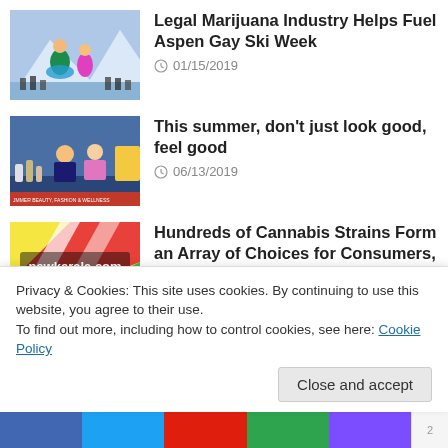[Figure (photo): Colorful performers at Aspen Gay Ski Week on a snowy slope]
Legal Marijuana Industry Helps Fuel Aspen Gay Ski Week
01/15/2019
[Figure (screenshot): TV news anchors at a desk with beauty and wellness products, lower-third text: JMMER BEAUTY, FASHION & WELLNESS]
This summer, don't just look good, feel good
06/13/2019
[Figure (photo): newkerala.com logo on colorful striped background]
Hundreds of Cannabis Strains Form an Array of Choices for Consumers, United States News#227404
10/13/2019
[Figure (photo): Partially visible thumbnail of commissioners meeting]
Commissioners vote to delay
Privacy & Cookies: This site uses cookies. By continuing to use this website, you agree to their use.
To find out more, including how to control cookies, see here: Cookie Policy
Close and accept